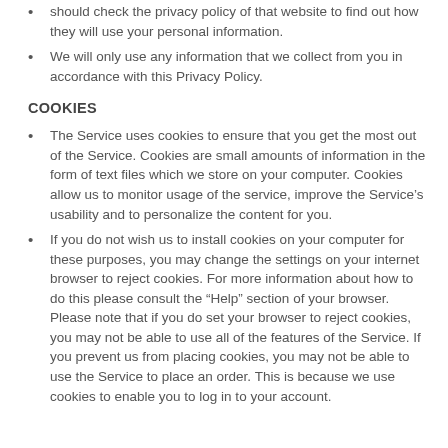should check the privacy policy of that website to find out how they will use your personal information.
We will only use any information that we collect from you in accordance with this Privacy Policy.
COOKIES
The Service uses cookies to ensure that you get the most out of the Service. Cookies are small amounts of information in the form of text files which we store on your computer. Cookies allow us to monitor usage of the service, improve the Service's usability and to personalize the content for you.
If you do not wish us to install cookies on your computer for these purposes, you may change the settings on your internet browser to reject cookies. For more information about how to do this please consult the “Help” section of your browser. Please note that if you do set your browser to reject cookies, you may not be able to use all of the features of the Service. If you prevent us from placing cookies, you may not be able to use the Service to place an order. This is because we use cookies to enable you to log in to your account.